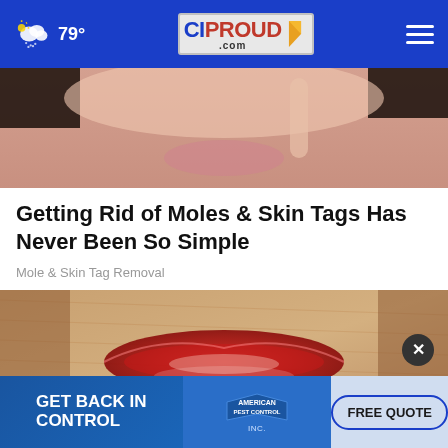79° CIProud.com
[Figure (photo): Close-up of a woman's lower face showing her lips, holding what appears to be a pen or applicator near her mouth. Dark hair visible. Skin-tone background.]
Getting Rid of Moles & Skin Tags Has Never Been So Simple
Mole & Skin Tag Removal
[Figure (photo): Close-up macro image of lips with red/dark lipstick, shown against a textured fabric or skin-like background with earthy brown tones.]
[Figure (infographic): Advertisement banner: GET BACK IN CONTROL | AMERICAN PEST CONTROL | FREE QUOTE button]